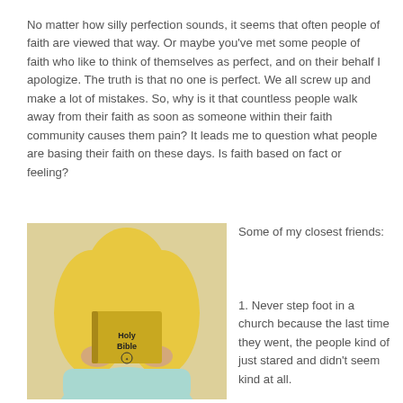No matter how silly perfection sounds, it seems that often people of faith are viewed that way. Or maybe you've met some people of faith who like to think of themselves as perfect, and on their behalf I apologize. The truth is that no one is perfect. We all screw up and make a lot of mistakes. So, why is it that countless people walk away from their faith as soon as someone within their faith community causes them pain? It leads me to question what people are basing their faith on these days. Is faith based on fact or feeling?
[Figure (photo): A woman with blonde hair holding a Holy Bible up in front of her face, wearing a light blue top, against a pale yellow background.]
Some of my closest friends:
1. Never step foot in a church because the last time they went, the people kind of just stared and didn't seem kind at all.